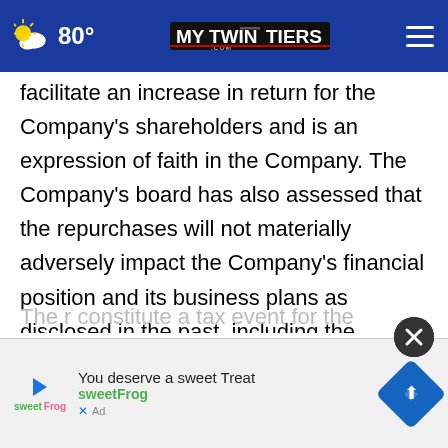80° mytwintiers.com
facilitate an increase in return for the Company's shareholders and is an expression of faith in the Company. The Company's board has also assessed that the repurchases will not materially adversely impact the Company's financial position and its business plans as disclosed in the past, including the Company's liquidity, capital structure, leverage and ability to maintain its current operations.
The r... constitute a tax event for the Company or its